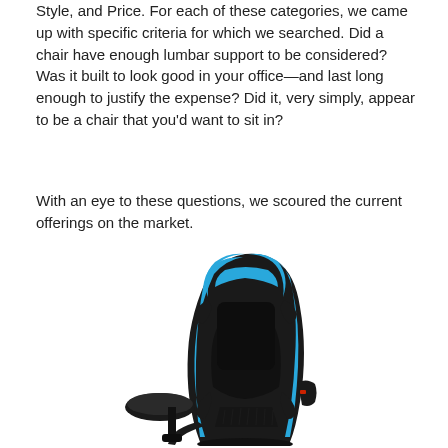Style, and Price. For each of these categories, we came up with specific criteria for which we searched. Did a chair have enough lumbar support to be considered? Was it built to look good in your office—and last long enough to justify the expense? Did it, very simply, appear to be a chair that you'd want to sit in?
With an eye to these questions, we scoured the current offerings on the market.
[Figure (photo): A gaming chair with blue and black upholstery, featuring a high back with lumbar support curves, adjustable armrests, and a racing-style design. The chair is photographed at a slight angle showing the side profile.]